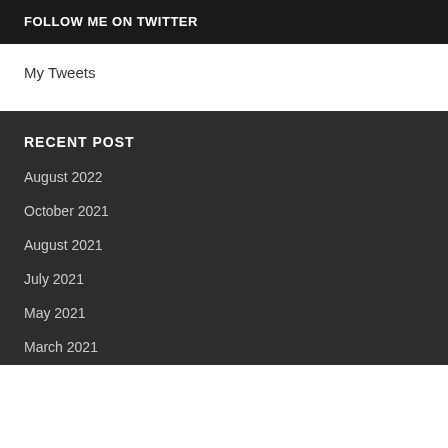FOLLOW ME ON TWITTER
My Tweets
RECENT POST
August 2022
October 2021
August 2021
July 2021
May 2021
March 2021